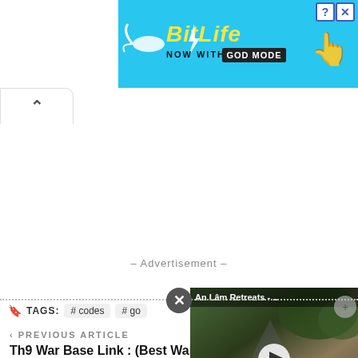[Figure (screenshot): BitLife advertisement banner with 'NOW WITH GOD MODE' text on blue background, with close and help buttons]
[Figure (screenshot): Browser collapse/minimize button with upward chevron]
– Advertisement –
[Figure (screenshot): Close (X) circle button on dotted divider line]
TAGS: # codes # go
< PREVIOUS ARTICLE
Th9 War Base Link : (Best War Bases!) (Augu 2022)
[Figure (screenshot): Video thumbnail overlay showing 'An Lâm Retreats -...' with play button and street/nature scene]